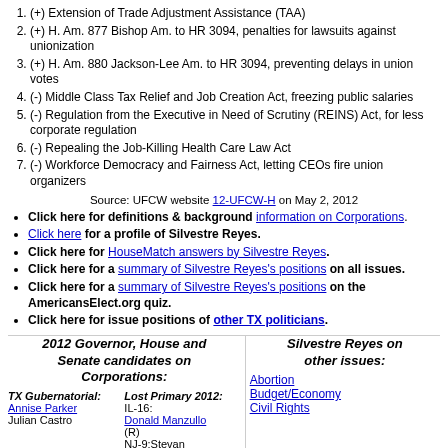(+) Extension of Trade Adjustment Assistance (TAA)
(+) H. Am. 877 Bishop Am. to HR 3094, penalties for lawsuits against unionization
(+) H. Am. 880 Jackson-Lee Am. to HR 3094, preventing delays in union votes
(-) Middle Class Tax Relief and Job Creation Act, freezing public salaries
(-) Regulation from the Executive in Need of Scrutiny (REINS) Act, for less corporate regulation
(-) Repealing the Job-Killing Health Care Law Act
(-) Workforce Democracy and Fairness Act, letting CEOs fire union organizers
Source: UFCW website 12-UFCW-H on May 2, 2012
Click here for definitions & background information on Corporations.
Click here for a profile of Silvestre Reyes.
Click here for HouseMatch answers by Silvestre Reyes.
Click here for a summary of Silvestre Reyes's positions on all issues.
Click here for a summary of Silvestre Reyes's positions on the AmericansElect.org quiz.
Click here for issue positions of other TX politicians.
2012 Governor, House and Senate candidates on Corporations:
Silvestre Reyes on other issues:
TX Gubernatorial:
Annise Parker
Julian Castro
Lost Primary 2012:
IL-16:Donald Manzullo(R)
NJ-9:Stevan
Abortion
Budget/Economy
Civil Rights